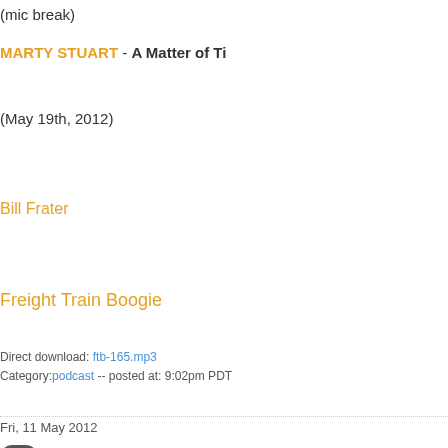(mic break)
MARTY STUART - A Matter of Ti…
(May 19th, 2012)
Bill Frater
Freight Train Boogie
Direct download: ftb-165.mp3
Category:podcast -- posted at: 9:02pm PDT
Fri, 11 May 2012
FTB Show #164 fo…
FTB podcast #164 is a "One-Shot"... WACO BROTHERS & PAUL BUR… name, their album title is Maiden H…
Show #164
EVIE LADIN BAND - Weathering…
HONEY BLUE - Bedfellow (Nash…